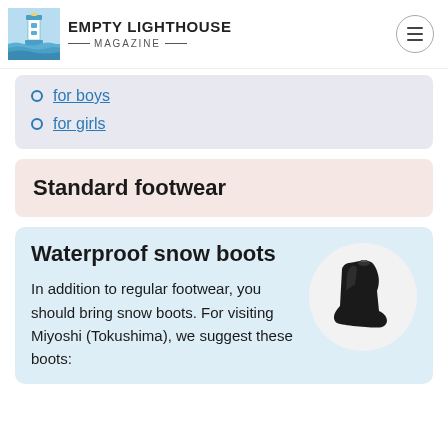EMPTY LIGHTHOUSE MAGAZINE
for boys
for girls
Standard footwear
Waterproof snow boots
In addition to regular footwear, you should bring snow boots. For visiting Miyoshi (Tokushima), we suggest these boots:
[Figure (photo): Black waterproof snow boot shown against a white circular background]